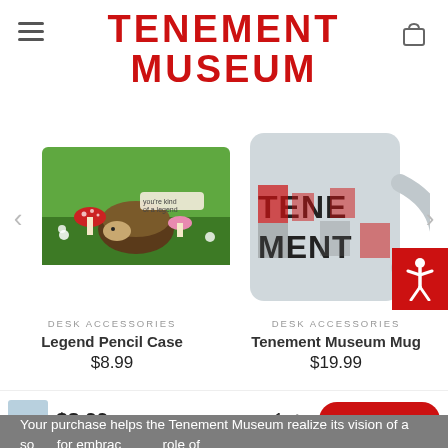TENEMENT MUSEUM
[Figure (photo): Legend Pencil Case product image showing illustrated hedgehog with mushrooms on green background]
DESK ACCESSORIES
Legend Pencil Case
$8.99
[Figure (photo): Tenement Museum Mug product image showing gray mug with red and black Tenement Museum lettering]
DESK ACCESSORIES
Tenement Museum Mug
$19.99
ABOUT US
Your purchase helps the Tenement Museum realize its vision of a society that embraces                              role of